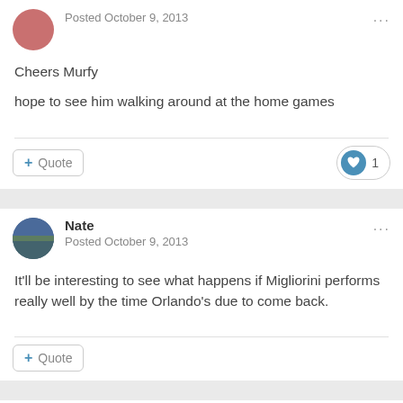[Figure (photo): Circular avatar of a person (partially cropped at top)]
Posted October 9, 2013
Cheers Murfy

hope to see him walking around at the home games
Quote
1
[Figure (photo): Circular avatar showing a crowd/sports event photo for user Nate]
Nate
Posted October 9, 2013
It'll be interesting to see what happens if Migliorini performs really well by the time Orlando's due to come back.
Quote